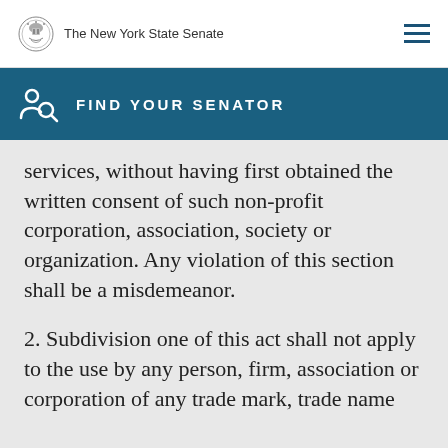The New York State Senate
FIND YOUR SENATOR
services, without having first obtained the written consent of such non-profit corporation, association, society or organization. Any violation of this section shall be a misdemeanor.
2. Subdivision one of this act shall not apply to the use by any person, firm, association or corporation of any trade mark, trade name